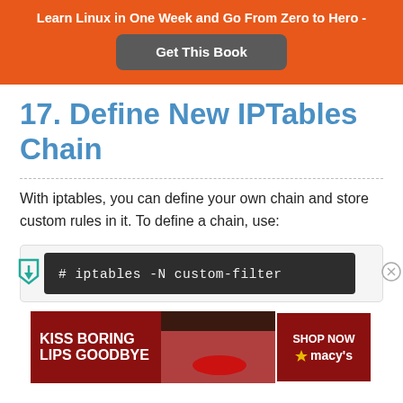Learn Linux in One Week and Go From Zero to Hero -
Get This Book
17. Define New IPTables Chain
With iptables, you can define your own chain and store custom rules in it. To define a chain, use:
[Figure (screenshot): Advertisement banner: KISS BORING LIPS GOODBYE with SHOP NOW and macy's branding]